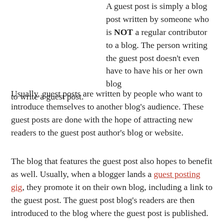A guest post is simply a blog post written by someone who is NOT a regular contributor to a blog. The person writing the guest post doesn't even have to have his or her own blog to write a guest post.
Usually, guest posts are written by people who want to introduce themselves to another blog's audience. These guest posts are done with the hope of attracting new readers to the guest post author's blog or website.
The blog that features the guest post also hopes to benefit as well. Usually, when a blogger lands a guest posting gig, they promote it on their own blog, including a link to the guest post. The guest post blog's readers are then introduced to the blog where the guest post is published.